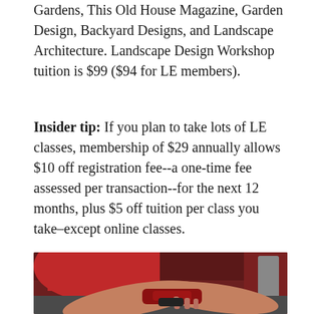Gardens, This Old House Magazine, Garden Design, Backyard Designs, and Landscape Architecture. Landscape Design Workshop tuition is $99 ($94 for LE members).
Insider tip: If you plan to take lots of LE classes, membership of $29 annually allows $10 off registration fee--a one-time fee assessed per transaction--for the next 12 months, plus $5 off tuition per class you take–except online classes.
[Figure (photo): A person in a red apron working with meat on a counter, hands visible pressing down on red meat pieces.]